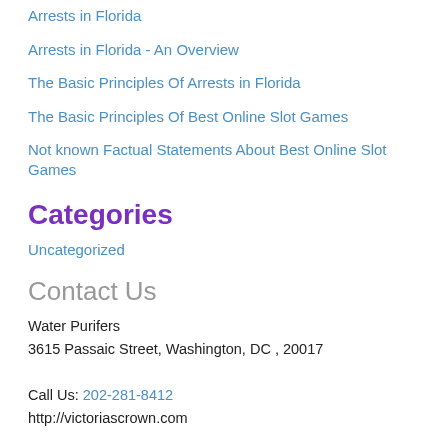Arrests in Florida
Arrests in Florida - An Overview
The Basic Principles Of Arrests in Florida
The Basic Principles Of Best Online Slot Games
Not known Factual Statements About Best Online Slot Games
Categories
Uncategorized
Contact Us
Water Purifers
3615 Passaic Street, Washington, DC , 20017

Call Us: 202-281-8412
http://victoriascrown.com